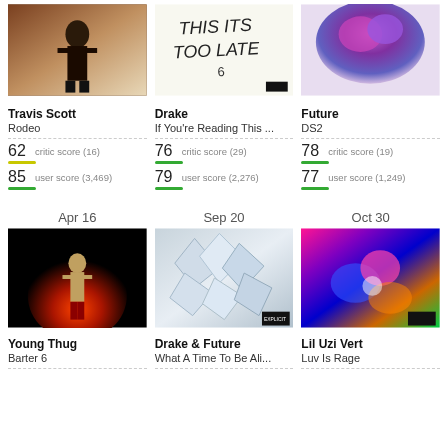[Figure (photo): Travis Scott - Rodeo album cover]
[Figure (photo): Drake - If You're Reading This It's Too Late album cover]
[Figure (photo): Future - DS2 album cover]
Travis Scott
Rodeo
62 critic score (16)
85 user score (3,469)
Drake
If You're Reading This ...
76 critic score (29)
79 user score (2,276)
Future
DS2
78 critic score (19)
77 user score (1,249)
Apr 16
Sep 20
Oct 30
[Figure (photo): Young Thug - Barter 6 album cover]
[Figure (photo): Drake & Future - What A Time To Be Alive album cover]
[Figure (photo): Lil Uzi Vert - Luv Is Rage album cover]
Young Thug
Barter 6
Drake & Future
What A Time To Be Ali...
Lil Uzi Vert
Luv Is Rage